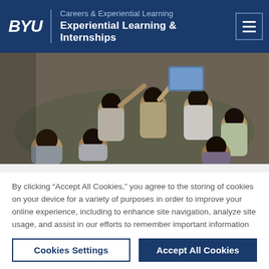BYU | Careers & Experiential Learning — Experiential Learning & Internships
[Figure (photo): Aerial view of a group of young children sitting on the floor, viewed from above. Children have dark hair and are wearing various colored clothing. They appear to be engaged in a group activity or reading session in a classroom setting.]
By clicking “Accept All Cookies,” you agree to the storing of cookies on your device for a variety of purposes in order to improve your online experience, including to enhance site navigation, analyze site usage, and assist in our efforts to remember important information that will make your future use of our sites more convenient.
Cookies Settings
Accept All Cookies